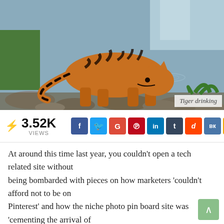[Figure (photo): A tiger drinking or walking near a rocky stream/waterfall with green vegetation in the background]
Tiger drinking
⚡ 3.52K VIEWS
[Figure (infographic): Social media share buttons: Facebook (f), Twitter, Google+, Pinterest, LinkedIn, Tumblr, Reddit, VK, Email]
At around this time last year, you couldn't open a tech related site without being bombarded with pieces on how marketers 'couldn't afford not to be on Pinterest' and how the niche photo pin board site was 'cementing the arrival of the image led web' and 'the new best way to reach women